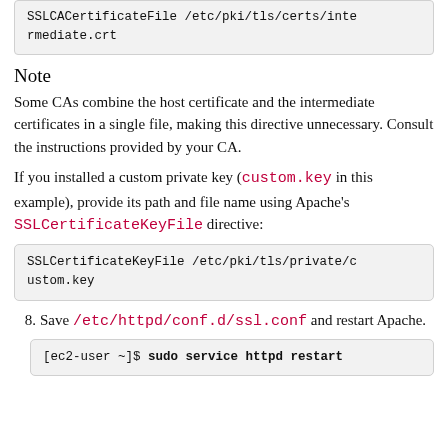SSLCACertificateFile /etc/pki/tls/certs/intermediate.crt
Note
Some CAs combine the host certificate and the intermediate certificates in a single file, making this directive unnecessary. Consult the instructions provided by your CA.
If you installed a custom private key (custom.key in this example), provide its path and file name using Apache's SSLCertificateKeyFile directive:
SSLCertificateKeyFile /etc/pki/tls/private/custom.key
8. Save /etc/httpd/conf.d/ssl.conf and restart Apache.
[ec2-user ~]$ sudo service httpd restart